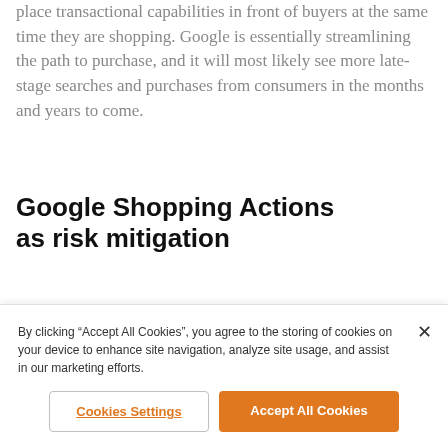place transactional capabilities in front of buyers at the same time they are shopping. Google is essentially streamlining the path to purchase, and it will most likely see more late-stage searches and purchases from consumers in the months and years to come.
Google Shopping Actions as risk mitigation
The other angle for retailers and brands to consider
By clicking “Accept All Cookies”, you agree to the storing of cookies on your device to enhance site navigation, analyze site usage, and assist in our marketing efforts.